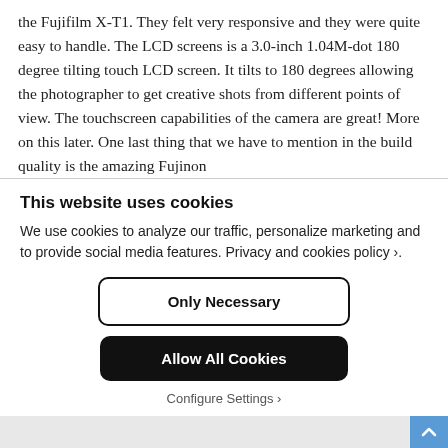the Fujifilm X-T1. They felt very responsive and they were quite easy to handle. The LCD screens is a 3.0-inch 1.04M-dot 180 degree tilting touch LCD screen. It tilts to 180 degrees allowing the photographer to get creative shots from different points of view. The touchscreen capabilities of the camera are great! More on this later. One last thing that we have to mention in the build quality is the amazing Fujinon
This website uses cookies
We use cookies to analyze our traffic, personalize marketing and to provide social media features. Privacy and cookies policy ›.
Only Necessary
Allow All Cookies
Configure Settings ›